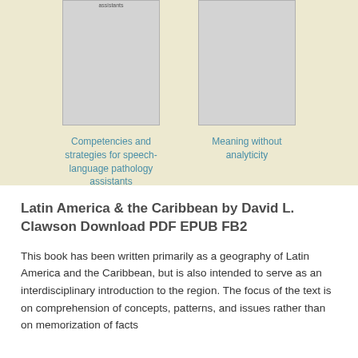[Figure (illustration): Book cover placeholder for 'Competencies and strategies for speech-language pathology assistants', gray rectangle with small text at top]
Competencies and strategies for speech-language pathology assistants
[Figure (illustration): Book cover placeholder for 'Meaning without analyticity', gray rectangle]
Meaning without analyticity
Latin America & the Caribbean by David L. Clawson Download PDF EPUB FB2
This book has been written primarily as a geography of Latin America and the Caribbean, but is also intended to serve as an interdisciplinary introduction to the region. The focus of the text is on comprehension of concepts, patterns, and issues rather than on memorization of facts